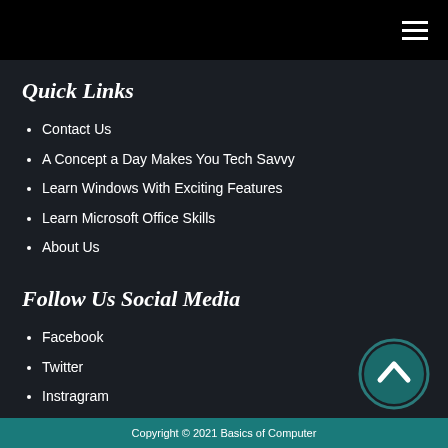Quick Links
Contact Us
A Concept a Day Makes You Tech Savvy
Learn Windows With Exciting Features
Learn Microsoft Office Skills
About Us
Follow Us Social Media
Facebook
Twitter
Instragram
Copyright © 2021 Basics of Computer